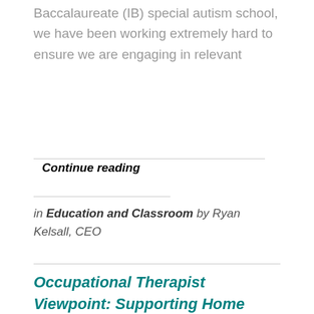Baccalaureate (IB) special autism school, we have been working extremely hard to ensure we are engaging in relevant
Continue reading
in Education and Classroom by Ryan Kelsall, CEO
Occupational Therapist Viewpoint: Supporting Home Learning Through Movement